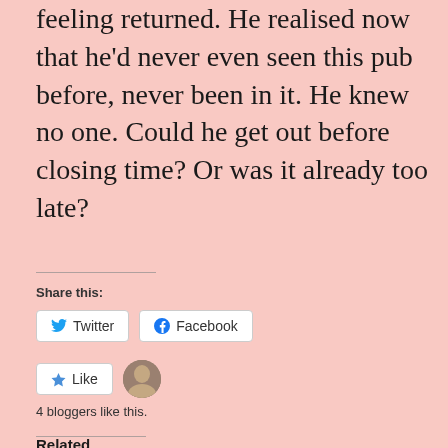feeling returned. He realised now that he'd never even seen this pub before, never been in it. He knew no one. Could he get out before closing time? Or was it already too late?
Share this:
[Figure (screenshot): Twitter and Facebook share buttons]
[Figure (screenshot): Like button with star icon and blogger avatar]
4 bloggers like this.
Related
Mortals Inc /Immortals
The Old Road Sweeper's